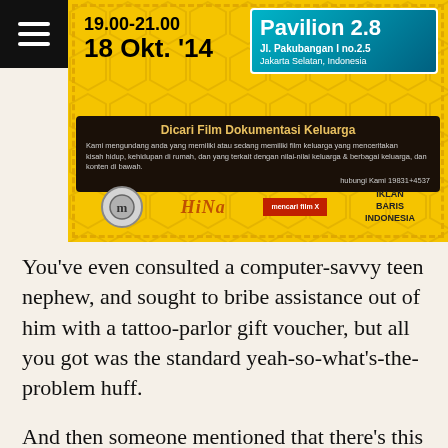[Figure (photo): A yellow promotional flyer/poster for an event at Pavilion 28, Jl. Pakubangan I no. 2.5, Jakarta Selatan, Indonesia. Shows time 19.00-21.00, date 18 Okt '14, a dark band with Indonesian text about seeking family documentation film, and logos at the bottom. A hamburger menu icon is in the top-left corner over a black background.]
You've even consulted a computer-savvy teen nephew, and sought to bribe assistance out of him with a tattoo-parlor gift voucher, but all you got was the standard yeah-so-what's-the-problem huff.
And then someone mentioned that there's this